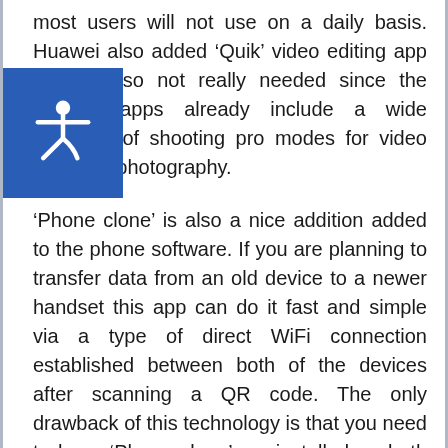most users will not use on a daily basis. Huawei also added 'Quik' video editing app that is also not really needed since the camera apps already include a wide selection of shooting pro modes for video and stills photography.
'Phone clone' is also a nice addition added to the phone software. If you are planning to transfer data from an old device to a newer handset this app can do it fast and simple via a type of direct WiFi connection established between both of the devices after scanning a QR code. The only drawback of this technology is that you need to have 'Phone clone' pre-installed on both devices to make it workable.